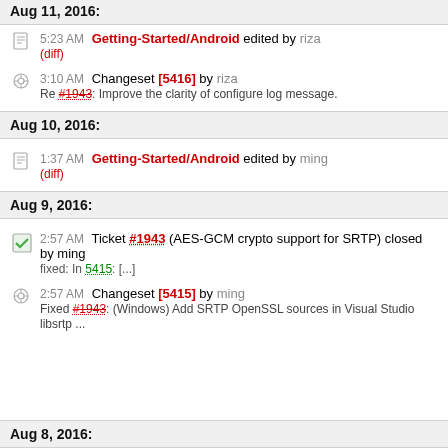Aug 11, 2016:
5:23 AM Getting-Started/Android edited by riza (diff)
3:10 AM Changeset [5416] by riza
Re #1943: Improve the clarity of configure log message.
Aug 10, 2016:
1:37 AM Getting-Started/Android edited by ming (diff)
Aug 9, 2016:
2:57 AM Ticket #1943 (AES-GCM crypto support for SRTP) closed by ming
fixed: In 5415: [...]
2:57 AM Changeset [5415] by ming
Fixed #1943: (Windows) Add SRTP OpenSSL sources in Visual Studio libsrtp ...
Aug 8, 2016: